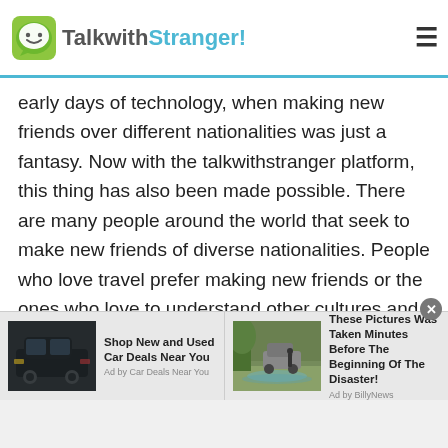TalkwithStranger!
early days of technology, when making new friends over different nationalities was just a fantasy. Now with the talkwithstranger platform, this thing has also been made possible. There are many people around the world that seek to make new friends of diverse nationalities. People who love travel prefer making new friends or the ones who love to understand other cultures and traditions make friends from different countries. Talkwithstranger works in a very different way in contrast to Comoran chat sites. Here, there is a dedicated chat room for
[Figure (screenshot): Advertisement: Shop New and Used Car Deals Near You - Ad by Car Deals Near You, with image of dark SUV]
[Figure (screenshot): Advertisement: These Pictures Was Taken Minutes Before The Beginning Of The Disaster! - Ad by BillyNews, with image of car crossing flooded road]